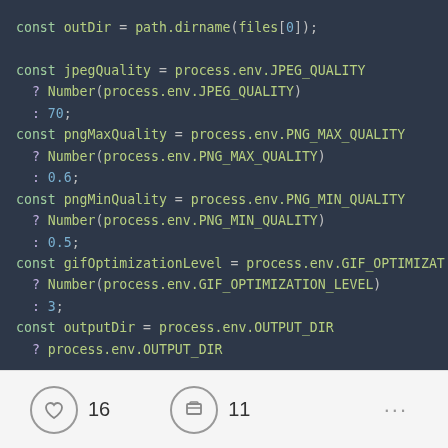[Figure (screenshot): Code screenshot on dark background showing JavaScript const declarations for outDir, jpegQuality, pngMaxQuality, pngMinQuality, gifOptimizationLevel, and outputDir using process.env variables with ternary operators.]
16  11  ...